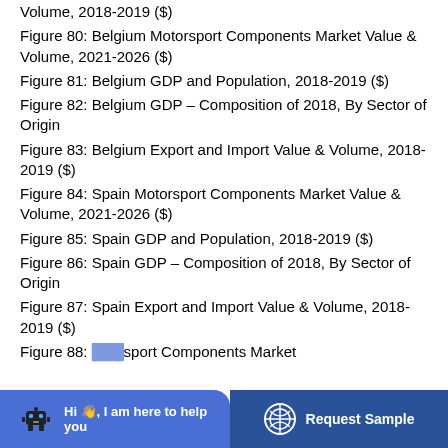Volume, 2018-2019 ($)
Figure 80: Belgium Motorsport Components Market Value & Volume, 2021-2026 ($)
Figure 81: Belgium GDP and Population, 2018-2019 ($)
Figure 82: Belgium GDP – Composition of 2018, By Sector of Origin
Figure 83: Belgium Export and Import Value & Volume, 2018-2019 ($)
Figure 84: Spain Motorsport Components Market Value & Volume, 2021-2026 ($)
Figure 85: Spain GDP and Population, 2018-2019 ($)
Figure 86: Spain GDP – Composition of 2018, By Sector of Origin
Figure 87: Spain Export and Import Value & Volume, 2018-2019 ($)
Figure 88: [Spain] Motorsport Components Market